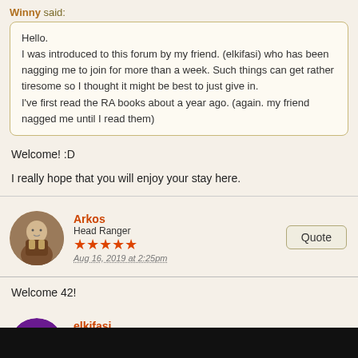Winny said:
Hello.
I was introduced to this forum by my friend. (elkifasi) who has been nagging me to join for more than a week. Such things can get rather tiresome so I thought it might be best to just give in.
I've first read the RA books about a year ago. (again. my friend nagged me until I read them)
Welcome! :D
I really hope that you will enjoy your stay here.
Arkos
Head Ranger
★★★★★
Aug 16, 2019 at 2:25pm
Welcome 42!
elkifasi
Burger
★★★★
Aug 17, 2019 at 2:36am